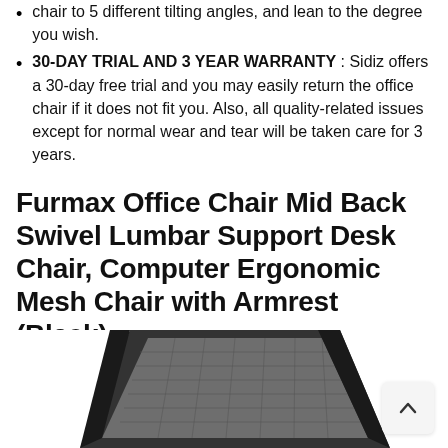chair to 5 different tilting angles, and lean to the degree you wish.
30-DAY TRIAL AND 3 YEAR WARRANTY : Sidiz offers a 30-day free trial and you may easily return the office chair if it does not fit you. Also, all quality-related issues except for normal wear and tear will be taken care for 3 years.
Furmax Office Chair Mid Back Swivel Lumbar Support Desk Chair, Computer Ergonomic Mesh Chair with Armrest (Black)
[Figure (photo): Bottom portion of a black mesh office chair back, showing the mesh fabric and chair frame structure, cropped at bottom of page.]